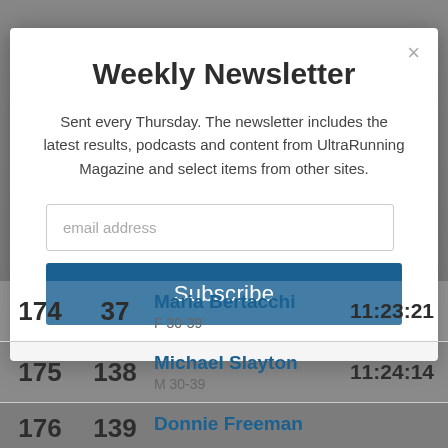[Figure (screenshot): Weekly Newsletter modal popup with email subscription form]
Weekly Newsletter
Sent every Thursday. The newsletter includes the latest results, podcasts and content from UltraRunning Magazine and select items from other sites.
| Rank | Bib | Name / Category | Time |
| --- | --- | --- | --- |
| 174 | 37 | Maria Bertacchi
F 30-39 | 11:23:21 |
| 175 | 138 | Michael Slayton
M 30-39 | 11:24:14 |
| 176 | 139 | Donnie Freeman
... | 11:24:14 |